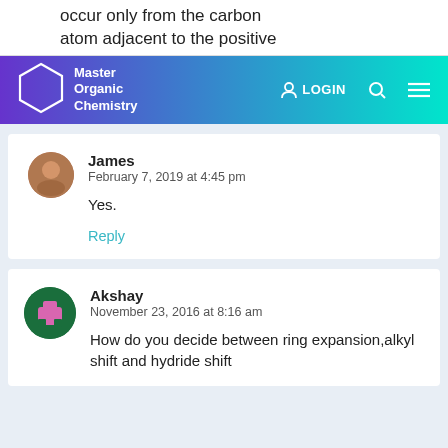occur only from the carbon atom adjacent to the positive
[Figure (screenshot): Navigation bar for Master Organic Chemistry website with purple to teal gradient, hexagon logo, LOGIN link, search icon, and hamburger menu]
James
February 7, 2019 at 4:45 pm
Yes.
Reply
Akshay
November 23, 2016 at 8:16 am
How do you decide between ring expansion,alkyl shift and hydride shift